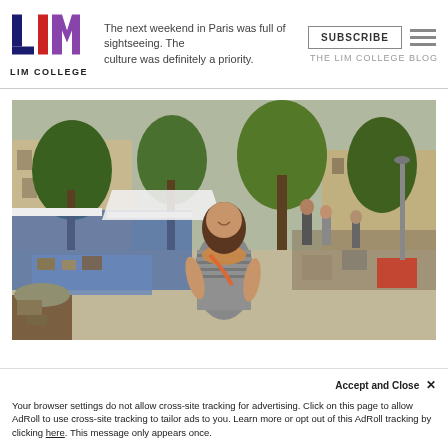[Figure (logo): LIM College logo with L in dark blue, I in red, M in purple, and text LIM COLLEGE below]
The next weekend in Paris was full of sightseeing. The culture was definitely a priority.
SUBSCRIBE
THE LIM COLLEGE BLOG
[Figure (photo): A smiling woman standing at an outdoor flea market or antique market, surrounded by stalls with vintage items, trees in the background, urban street setting]
Accept and Close ✕
Your browser settings do not allow cross-site tracking for advertising. Click on this page to allow AdRoll to use cross-site tracking to tailor ads to you. Learn more or opt out of this AdRoll tracking by clicking here. This message only appears once.